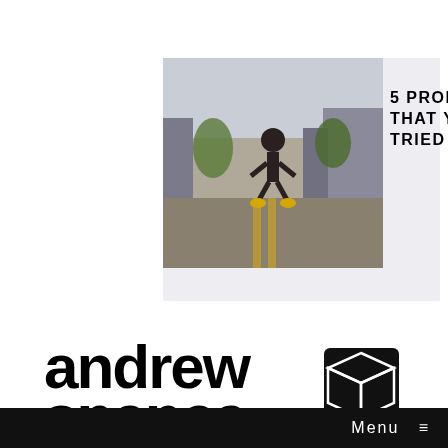[Figure (photo): Person jumping on a street, photo used as article thumbnail]
5 PRODUCTIVITY HACKS THAT YOU'VE NEVER TRIED BEFORE
[Figure (logo): Andrew Spence logo with text 'andrew spence' and a 3D cube icon, tagline 'embrace soulful business']
THESE QUICK TIPS WILL DRIVE MORE TRAFFIC TO YOUR WEBSITE
[Figure (photo): Smartphone showing analytics/statistics screen with numbers 77,811 and 115,945]
Menu ≡